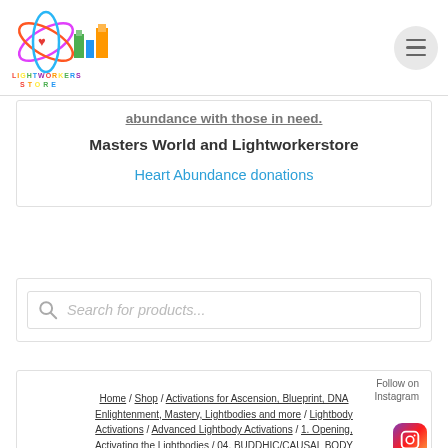Lightworkerstore logo and navigation menu
abundance with those in need.
Masters World and Lightworkerstore
Heart Abundance donations
Search for products...
Follow on Instagram / Home / Shop / Activations for Ascension, Blueprint, DNA Enlightenment, Mastery, Lightbodies and more / Lightbody Activations / Advanced Lightbody Activations / 1. Opening, Activating the Lightbodies / 04. BUDDHIC/CAUSAL BODY